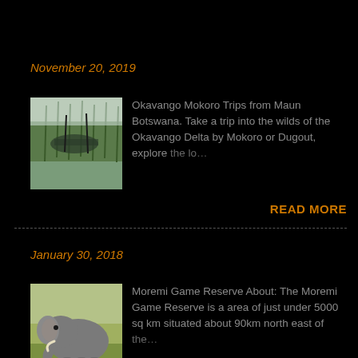November 20, 2019
[Figure (photo): People on mokoro boat in Okavango Delta wetlands with reeds in background]
Okavango Mokoro Trips from Maun Botswana. Take a trip into the wilds of the Okavango Delta by Mokoro or Dugout, explore the lo… …
READ MORE
January 30, 2018
[Figure (photo): Elephant close-up in grass field, Moremi Game Reserve]
Moremi Game Reserve  About:  The Moremi Game Reserve is a area of just under 5000 sq km situated about 90km north east of the …